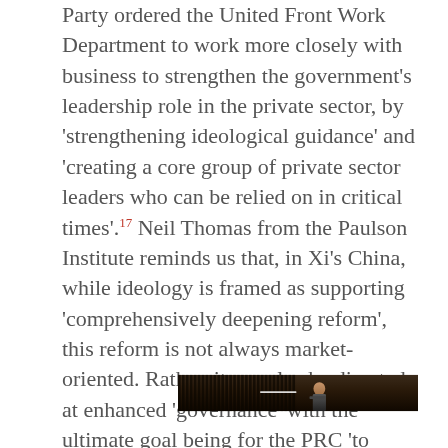Party ordered the United Front Work Department to work more closely with business to strengthen the government's leadership role in the private sector, by 'strengthening ideological guidance' and 'creating a core group of private sector leaders who can be relied on in critical times'.17 Neil Thomas from the Paulson Institute reminds us that, in Xi's China, while ideology is framed as supporting 'comprehensively deepening reform', this reform is not always market-oriented. Rather, it can also be directed at enhanced 'governance' with the ultimate goal being for the PRC 'to escape the middle-income trap and achieve comprehensive national power'.18
[Figure (photo): A dark photograph showing a person (likely a speaker or official) in front of a backdrop with vertical stripes or slats, with a horizontal light element visible]